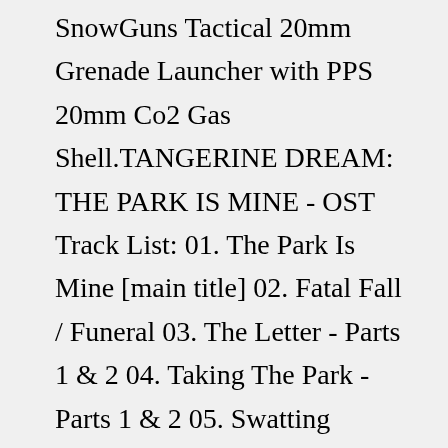SnowGuns Tactical 20mm Grenade Launcher with PPS 20mm Co2 Gas Shell.TANGERINE DREAM: THE PARK IS MINE - OST Track List: 01. The Park Is Mine [main title] 02. Fatal Fall / Funeral 03. The Letter - Parts 1 & 2 04. Taking The Park - Parts 1 & 2 05. Swatting S.W.A.T. 06. Love Theme 07. Helicopter Attack 08. Morning 09. We're Running Out Of Time 10. Claymore Mine / Stalking 11. Final Confrontation / The Park Is ...Claymore 02